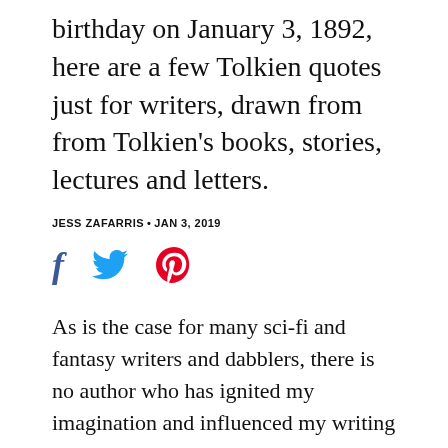birthday on January 3, 1892, here are a few Tolkien quotes just for writers, drawn from from Tolkien's books, stories, lectures and letters.
JESS ZAFARRIS • JAN 3, 2019
[Figure (other): Social sharing icons: Facebook (f), Twitter (bird), Pinterest (P)]
As is the case for many sci-fi and fantasy writers and dabblers, there is no author who has ignited my imagination and influenced my writing more than J.R.R. Tolkien. The worlds he created and stories he spun have enchanted generations of writers and readers and inspired all manner of fantasy worlds and underdog stories.